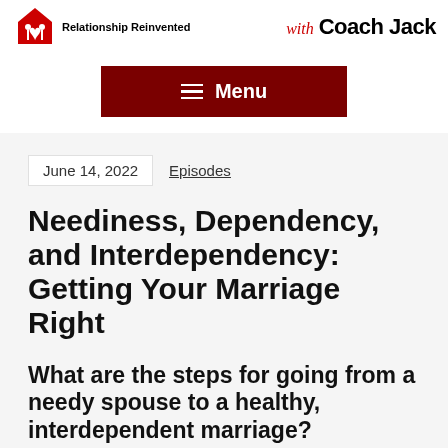with Coach Jack
[Figure (logo): Heart logo icon with couple silhouette]
≡ Menu
June 14, 2022
Episodes
Neediness, Dependency, and Interdependency: Getting Your Marriage Right
What are the steps for going from a needy spouse to a healthy, interdependent marriage?